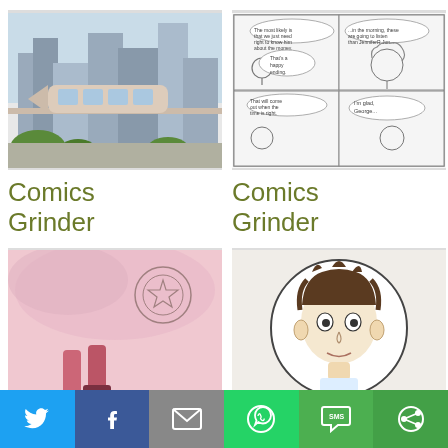[Figure (illustration): Comic book illustration showing futuristic city with monorail and tall buildings]
Comics Grinder
[Figure (illustration): Black and white comic strip panels showing two people in conversation with speech bubbles]
Comics Grinder
[Figure (illustration): Pink-toned illustrated comic art showing legs and a circular emblem with a star]
Comics Grinder
[Figure (illustration): Black and white sketch of a young boy's face in circular frame]
Comics Grinder
Twitter | Facebook | Email | WhatsApp | SMS | Other share